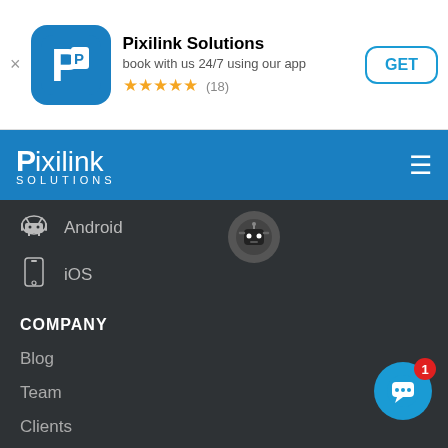[Figure (screenshot): App store banner for Pixilink Solutions with icon, title, subtitle, star rating and GET button]
[Figure (screenshot): Pixilink Solutions navigation bar with logo and hamburger menu]
Android
iOS
COMPANY
Blog
Team
Clients
Website
Offices
SOCIAL
/PixilinkSolutions
/pixilink
[Figure (screenshot): PixiBot chat popup from Pixilink saying Hi, I'm PixiBot. What brings you here today?]